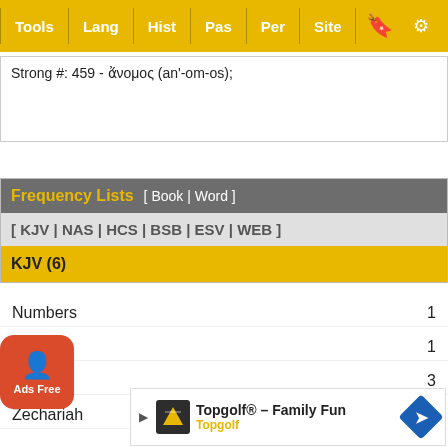Tools | Lang | Hist | Pas | Per | Site
Strong #: 459 - ἄνομος (an'-om-os);
Frequency Lists [ Book | Word ]
[ KJV | NAS | HCS | BSB | ESV | WEB ]
KJV (6)
Numbers  1
Isaiah  1
Ezekiel  3
Zechariah  1